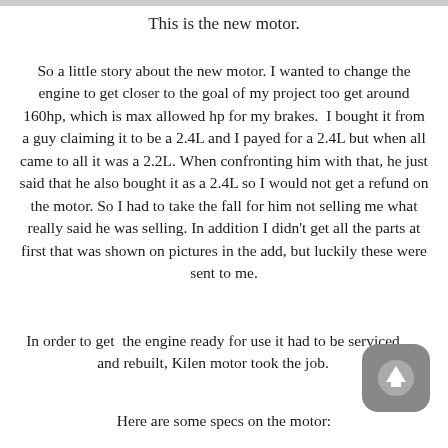This is the new motor.
So a little story about the new motor. I wanted to change the engine to get closer to the goal of my project too get around 160hp, which is max allowed hp for my brakes. I bought it from a guy claiming it to be a 2.4L and I payed for a 2.4L but when all came to all it was a 2.2L. When confronting him with that, he just said that he also bought it as a 2.4L so I would not get a refund on the motor. So I had to take the fall for him not selling me what really said he was selling. In addition I didn't get all the parts at first that was shown on pictures in the add, but luckily these were sent to me.
In order to get the engine ready for use it had to be serviced and rebuilt, Kilen motor took the job.
Here are some specs on the motor: